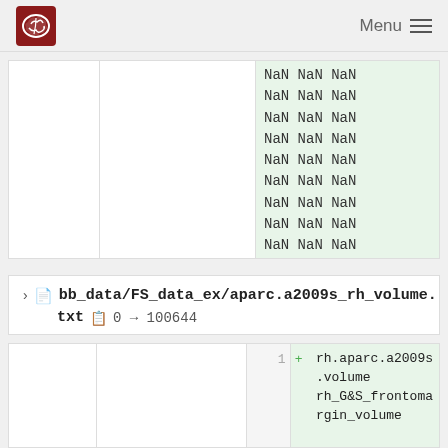Menu
|  |  | NaN NaN NaN |
|  |  | NaN NaN NaN |
|  |  | NaN NaN NaN |
|  |  | NaN NaN NaN |
|  |  | NaN NaN NaN |
|  |  | NaN NaN NaN |
|  |  | NaN NaN NaN |
|  |  | NaN NaN NaN |
|  |  | NaN NaN NaN |
|  |  | NaN NaN NaN |
|  |  | NaN NaN NaN |
|  |  | NaN NaN NaN |
bb_data/FS_data_ex/aparc.a2009s_rh_volume.txt  0 → 100644
|  |  | 1 | + | rh.aparc.a2009s.volume rh_G&S_frontomargin_volume |